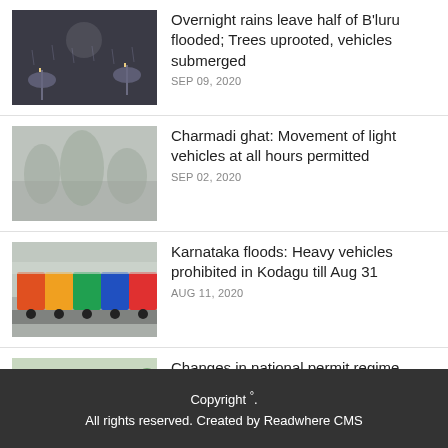[Figure (photo): People in rain at night, vehicles with headlights, flooding scene]
Overnight rains leave half of B'luru flooded; Trees uprooted, vehicles submerged
SEP 09, 2020
[Figure (photo): Misty mountain ghat road, foggy trees]
Charmadi ghat: Movement of light vehicles at all hours permitted
SEP 02, 2020
[Figure (photo): Colorful heavy trucks lined up on road]
Karnataka floods: Heavy vehicles prohibited in Kodagu till Aug 31
AUG 11, 2020
[Figure (photo): White and green tourist bus on road]
Changes in national permit regime soon to ease movement of tourist vehicles
JUL 03, 2020
Copyright °.
All rights reserved. Created by Readwhere CMS